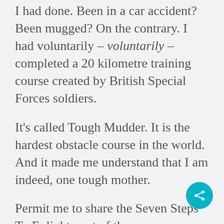I had done. Been in a car accident? Been mugged? On the contrary. I had voluntarily – voluntarily – completed a 20 kilometre training course created by British Special Forces soldiers.
It's called Tough Mudder. It is the hardest obstacle course in the world. And it made me understand that I am indeed, one tough mother.
Permit me to share the Seven Steps To Enlightment of the